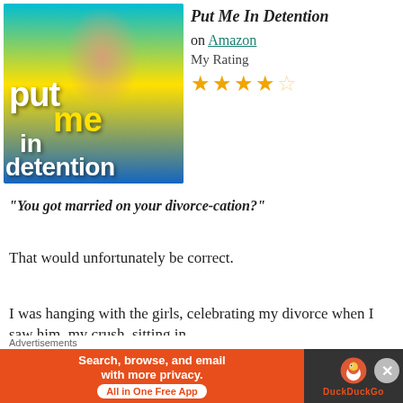[Figure (photo): Book cover for 'Put Me In Detention' showing a man in a black t-shirt sitting, with colorful background and text overlay reading 'put me in detention']
Put Me In Detention
on Amazon
My Rating
4 out of 5 stars
“You got married on your divorce-cation?”
That would unfortunately be correct.
I was hanging with the girls, celebrating my divorce when I saw him, my crush, sitting in
[Figure (screenshot): Advertisement banner: DuckDuckGo ad reading 'Search, browse, and email with more privacy. All in One Free App' with DuckDuckGo logo]